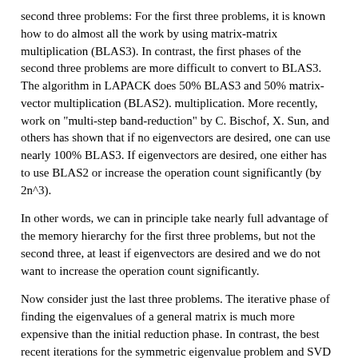second three problems: For the first three problems, it is known how to do almost all the work by using matrix-matrix multiplication (BLAS3). In contrast, the first phases of the second three problems are more difficult to convert to BLAS3. The algorithm in LAPACK does 50% BLAS3 and 50% matrix-vector multiplication (BLAS2). multiplication. More recently, work on "multi-step band-reduction" by C. Bischof, X. Sun, and others has shown that if no eigenvectors are desired, one can use nearly 100% BLAS3. If eigenvectors are desired, one either has to use BLAS2 or increase the operation count significantly (by 2n^3).
In other words, we can in principle take nearly full advantage of the memory hierarchy for the first three problems, but not the second three, at least if eigenvectors are desired and we do not want to increase the operation count significantly.
Now consider just the last three problems. The iterative phase of finding the eigenvalues of a general matrix is much more expensive than the initial reduction phase. In contrast, the best recent iterations for the symmetric eigenvalue problem and SVD are in principle much cheaper than the corresponding reduction phases (this was not true until recently).
Good parallel software for the first three problems exists in LAPACK and ScaLAPACK. Software for the second three problems exists in LAPACK, although not always with the most recent algorithms.